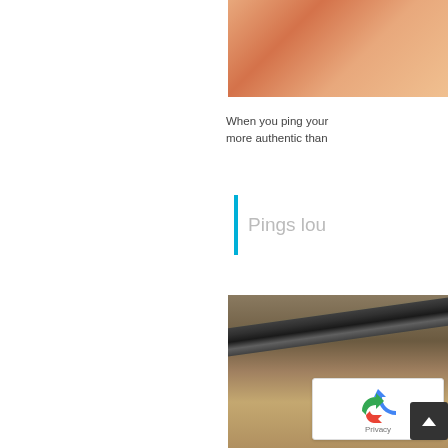[Figure (photo): Partial view of an orange/salmon colored curved surface, cropped at top right of page]
When you ping your more authentic than
Pings lou
[Figure (photo): Close-up photo of a corroded metal pipe (dark with greenish patina) resting on a sandy/concrete surface]
[Figure (other): reCAPTCHA widget with recycling arrow logo and Privacy text, plus a dark scroll-to-top button with upward arrow]